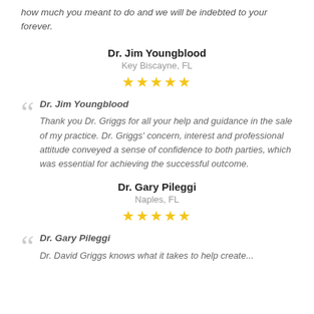how much you meant to do and we will be indebted to your forever.
Dr. Jim Youngblood
Key Biscayne, FL
★★★★★
Dr. Jim Youngblood
Thank you Dr. Griggs for all your help and guidance in the sale of my practice. Dr. Griggs' concern, interest and professional attitude conveyed a sense of confidence to both parties, which was essential for achieving the successful outcome.
Dr. Gary Pileggi
Naples, FL
★★★★★
Dr. Gary Pileggi
Dr. David Griggs knows what it takes to help create...